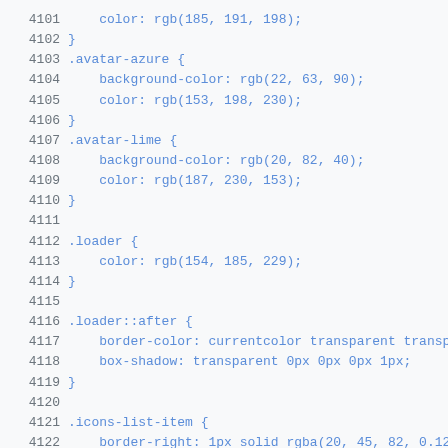[Figure (screenshot): Code editor screenshot showing CSS code lines 4101-4122 with line numbers on the left in gray and code in blue on a light gray background. The CSS includes rules for .avatar-azure, .avatar-lime, .loader, .loader::after, and .icons-list-item selectors with color, background-color, border-color, box-shadow, and border-right properties using rgb/rgba values.]